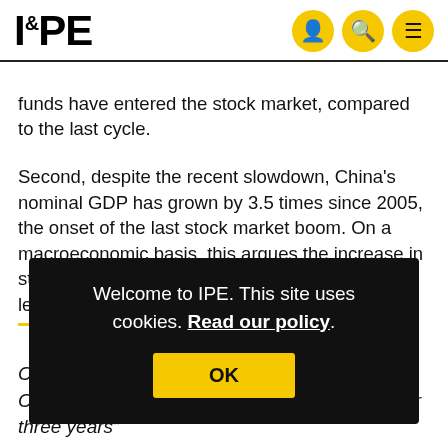IPE
funds have entered the stock market, compared to the last cycle.
Second, despite the recent slowdown, China's nominal GDP has grown by 3.5 times since 2005, the onset of the last stock market boom. On a macroeconomic basis, this argues the increase in st le .
[Figure (screenshot): Cookie consent overlay on IPE website with text 'Welcome to IPE. This site uses cookies. Read our policy.' and an OK button]
Chinese stocks rests in the deflationary risk. China's PPI has been in deflationary territory for three years"